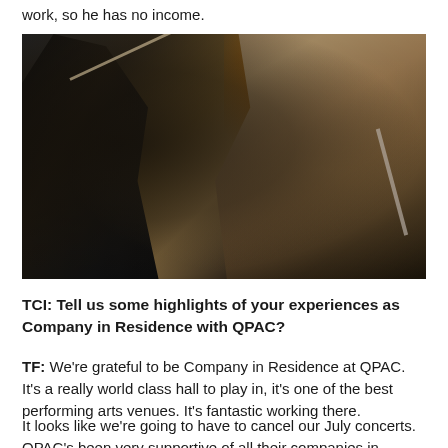work, so he has no income.
[Figure (photo): Two orchestra musicians performing: a man playing violin on the left in dark clothing, and a woman playing flute/clarinet on the right in a black dress, photographed in a dimly lit concert hall with warm amber background lighting.]
TCI: Tell us some highlights of your experiences as Company in Residence with QPAC?
TF: We're grateful to be Company in Residence at QPAC. It's a really world class hall to play in, it's one of the best performing arts venues. It's fantastic working there.
It looks like we're going to have to cancel our July concerts. QPAC's been very supportive of all their companies in residence during this time. We're not incurring any penalties for having to cancel the performances. QPAC will be refunding our ticket holders